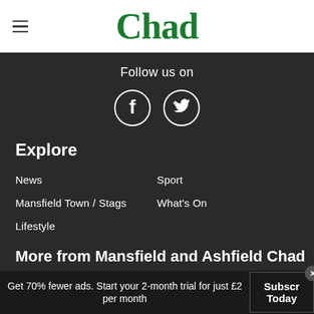[Figure (logo): Chad newspaper logo in green serif font with hamburger menu icon on left]
Follow us on
[Figure (illustration): Facebook and Twitter social media icons in white circles on dark background]
Explore
News
Sport
Mansfield Town / Stags
What's On
Lifestyle
More from Mansfield and Ashfield Chad
Announcements
Jobs
Public Notices
Must Read
Buye Photo
Directory
Get 70% fewer ads. Start your 2-month trial for just £2 per month
Subscribe Today